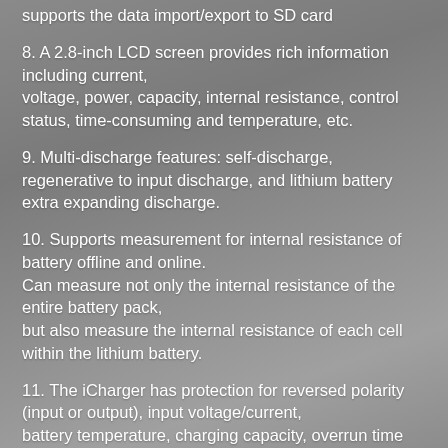supports the data import/export to SD card
8. A 2.8-inch LCD screen provides rich information including current, voltage, power, capacity, internal resistance, control status, time-consuming and temperature, etc.
9. Multi-discharge features: self-discharge, regenerative to input discharge, and lithium battery extra expanding discharge.
10. Supports measurement for internal resistance of battery offline and online. Can measure not only the internal resistance of the entire battery pack, but also measure the internal resistance of each cell within the lithium battery.
11. The iCharger has protection for reversed polarity (input or output), input voltage/current, battery temperature, charging capacity, overrun time and maximum power etc.